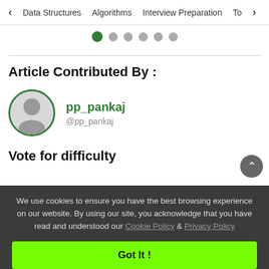< Data Structures   Algorithms   Interview Preparation   To>
[Figure (other): Pagination dots: 6 dots, first one active (green), rest grey]
Article Contributed By :
[Figure (other): User avatar circle with silhouette icon, green border]
pp_pankaj
@pp_pankaj
Vote for difficulty
We use cookies to ensure you have the best browsing experience on our website. By using our site, you acknowledge that you have read and understood our Cookie Policy & Privacy Policy
Got It !